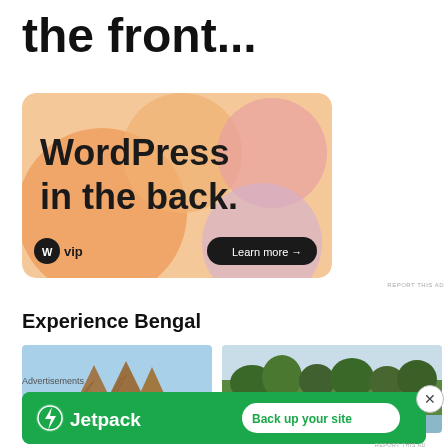[Figure (screenshot): Partially cropped advertisement showing text 'Business in the front...' with large bold black text on white background]
[Figure (screenshot): WordPress VIP advertisement banner with orange-pink gradient background, text 'WordPress in the back.' and 'Learn more →' button, WP VIP logo]
REPORT THIS AD
Experience Bengal
[Figure (photo): Photo of thatched roof huts with blue sky background]
[Figure (photo): Photo of green trees and water with boats/dock]
Advertisements
[Figure (screenshot): Jetpack advertisement - green banner with Jetpack logo and 'Back up your site' button]